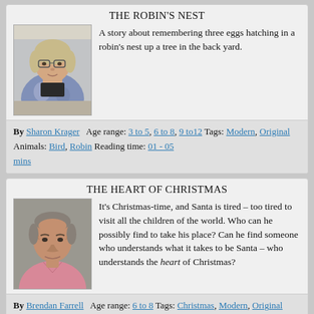THE ROBIN'S NEST
[Figure (photo): Photo of a woman with glasses and a floral top]
A story about remembering three eggs hatching in a robin's nest up a tree in the back yard.
By Sharon Krager   Age range: 3 to 5, 6 to 8, 9 to12 Tags: Modern, Original Animals: Bird, Robin Reading time: 01 - 05 mins
THE HEART OF CHRISTMAS
[Figure (photo): Photo of a middle-aged man in a pink shirt]
It's Christmas-time, and Santa is tired – too tired to visit all the children of the world. Who can he possibly find to take his place? Can he find someone who understands what it takes to be Santa – who understands the heart of Christmas?
By Brendan Farrell   Age range: 6 to 8 Tags: Christmas, Modern, Original Animals: Bird, Robin Reading time: 05 - 10 mins, 10 - 15 mins